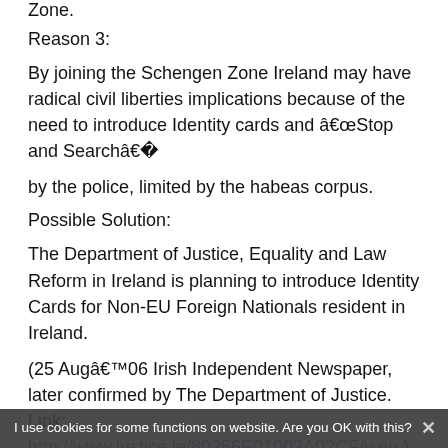Zone.
Reason 3:
By joining the Schengen Zone Ireland may have radical civil liberties implications because of the need to introduce Identity cards and â€œStop and Searchâ€�
by the police, limited by the habeas corpus.
Possible Solution:
The Department of Justice, Equality and Law Reform in Ireland is planning to introduce Identity Cards for Non-EU Foreign Nationals resident in Ireland.
(25 Augâ€™ 06 Irish Independent Newspaper, later confirmed by The Department of Justice. Link: http://www.justice.ie/80256E01003A02CF/v en.)
I use cookies for some functions on website. Are you OK with this?